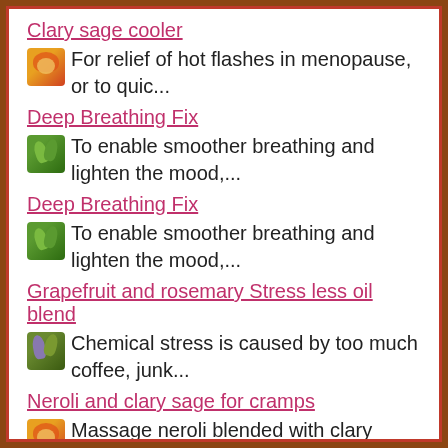Clary sage cooler — For relief of hot flashes in menopause, or to quic...
Deep Breathing Fix — To enable smoother breathing and lighten the mood,...
Deep Breathing Fix — To enable smoother breathing and lighten the mood,...
Grapefruit and rosemary Stress less oil blend — Chemical stress is caused by too much coffee, junk...
Neroli and clary sage for cramps — Massage neroli blended with clary sage into the l...